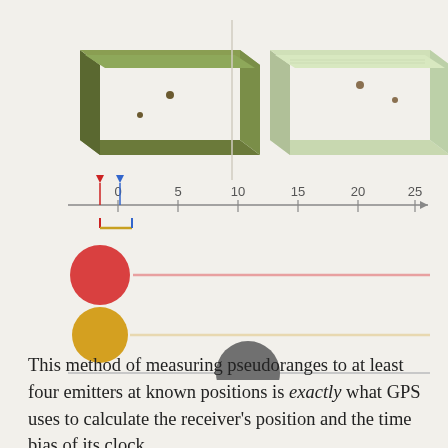[Figure (infographic): Two 3D illustrations of green rectangular panels (satellite signal emitters) side by side at top, with a number line below (0 to 25) showing measurement indicators including a red downward arrow, a blue downward arrow, and a golden bracket near 0. Below that: three horizontal slider/range indicators — a red circle with a pink horizontal line extending to the right, a golden circle with a beige horizontal line, and a gray circle (at midpoint) with a gray horizontal line.]
This method of measuring pseudoranges to at least four emitters at known positions is exactly what GPS uses to calculate the receiver's position and the time bias of its clock